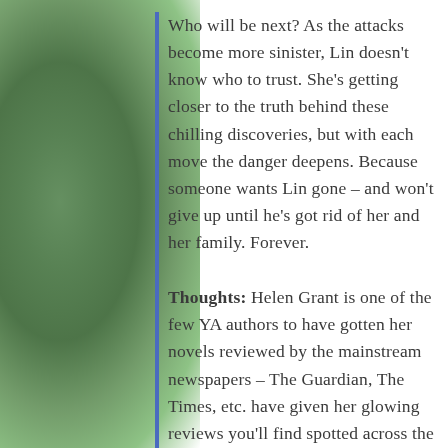Who will be next? As the attacks become more sinister, Lin doesn't know who to trust. She's getting closer to the truth behind these chilling discoveries, but with each move the danger deepens. Because someone wants Lin gone – and won't give up until he's got rid of her and her family. Forever.
Thoughts: Helen Grant is one of the few YA authors to have gotten her novels reviewed by the mainstream newspapers – The Guardian, The Times, etc. have given her glowing reviews you'll find spotted across the back cover of her books. This unusual